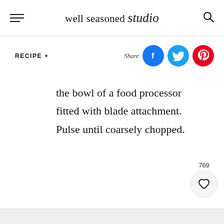well seasoned studio
RECIPE +
[Figure (other): Share buttons for Facebook, Twitter, and Pinterest with label 'Share']
the bowl of a food processor fitted with blade attachment. Pulse until coarsely chopped.
[Figure (other): Like/heart button with count 769]